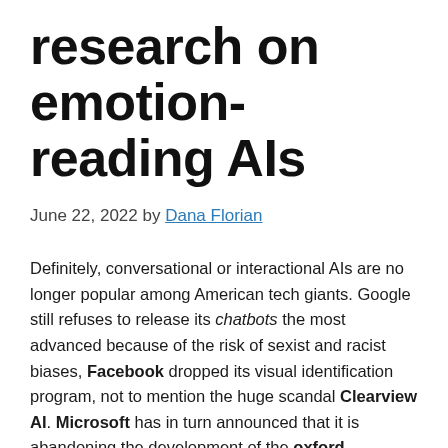research on emotion-reading AIs
June 22, 2022 by Dana Florian
Definitely, conversational or interactional AIs are no longer popular among American tech giants. Google still refuses to release its chatbots the most advanced because of the risk of sexist and racist biases, Facebook dropped its visual identification program, not to mention the huge scandal Clearview AI. Microsoft has in turn announced that it is abandoning the development of the oxford